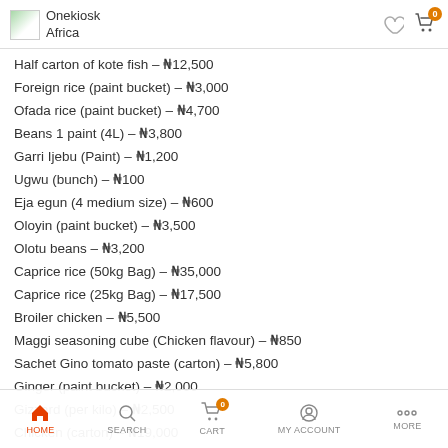Onekiosk Africa
Half carton of kote fish – ₦12,500
Foreign rice (paint bucket) – ₦3,000
Ofada rice (paint bucket) – ₦4,700
Beans 1 paint (4L) – ₦3,800
Garri Ijebu (Paint) – ₦1,200
Ugwu (bunch) – ₦100
Eja egun (4 medium size) – ₦600
Oloyin (paint bucket) – ₦3,500
Olotu beans – ₦3,200
Caprice rice (50kg Bag) – ₦35,000
Caprice rice (25kg Bag) – ₦17,500
Broiler chicken – ₦5,500
Maggi seasoning cube (Chicken flavour) – ₦850
Sachet Gino tomato paste (carton) – ₦5,800
Ginger (paint bucket) – ₦2,000
Gizzard (per kilo) – ₦2,500
Chicken (carton) – ₦19,000
Chicken (half carton) – ₦9,500
Turkey (whole) – ₦5,500
HOME   SEARCH   CART   MY ACCOUNT   MORE